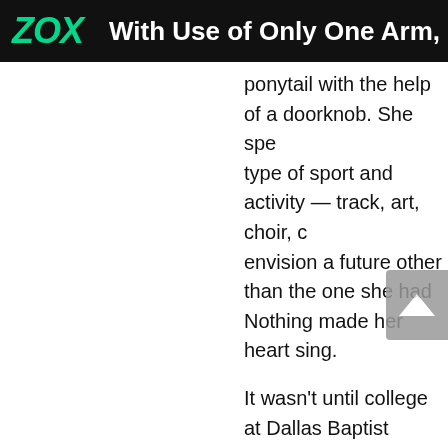ZOX  With Use of Only One Arm, a S
ponytail with the help of a doorknob. She spe type of sport and activity — track, art, choir, c envision a future other than the one she had Nothing made her heart sing.
It wasn't until college at Dallas Baptist Univer
“I found myself constantly going back to the c don't we rig up a pit bike that you can ride wi nine hours. I went through three cans of gas. sense of peace. I call it my throttle therapy. If gotten into snowboarding.”
Word spread about the 5-foot-2, one-armed w
Adaptive Action Sports invited Clay to Colora